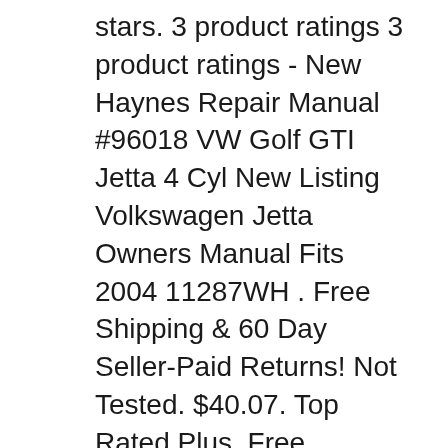stars. 3 product ratings 3 product ratings - New Haynes Repair Manual #96018 VW Golf GTI Jetta 4 Cyl New Listing Volkswagen Jetta Owners Manual Fits 2004 11287WH . Free Shipping & 60 Day Seller-Paid Returns! Not Tested. $40.07. Top Rated Plus. Free shipping. Make: Volkswagen. or Best Offer. Watch . New Haynes Repair Manual #96018 VW Golf GTI Jetta 4 Cyl Gas TDI Diesel 1999-2005. 4.5 out of 5 stars. 3 product ratings 3 product ratings - New Haynes Repair Manual #96018 VW Golf GTI Jetta 4 Cyl
24.03.2014B B· Recently purchased my GTI, and it didn't come with the owners manual. I can't seem to find any OEM